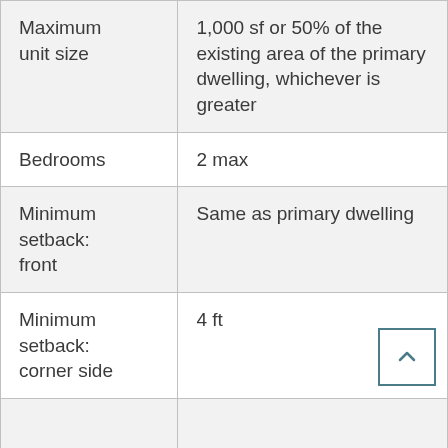|  |  |
| --- | --- |
| Maximum unit size | 1,000 sf or 50% of the existing area of the primary dwelling, whichever is greater |
| Bedrooms | 2 max |
| Minimum setback: front | Same as primary dwelling |
| Minimum setback: corner side | 4 ft |
|  |  |